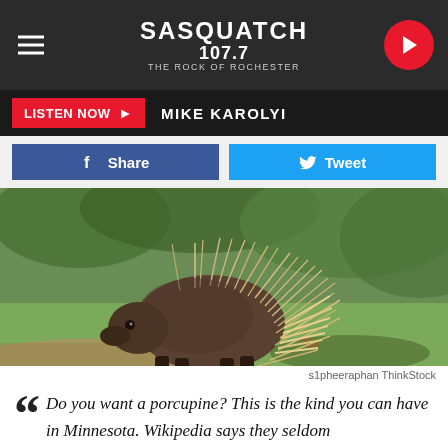SASQUATCH 107.7 THE ROCK OF ROCHESTER
LISTEN NOW ▶  MIKE KAROLYI
Share   Tweet
[Figure (photo): A porcupine on green grass with foliage in the background]
s1pheeraphan ThinkStock
““ Do you want a porcupine? This is the kind you can have in Minnesota. Wikipedia says they seldom